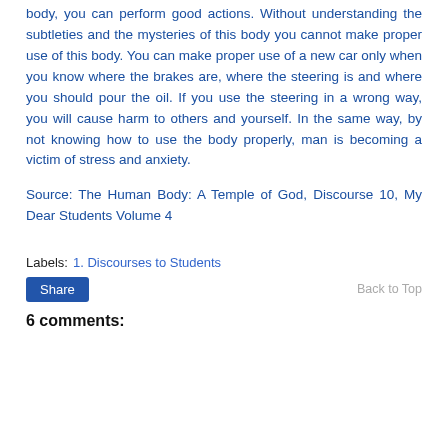body, you can perform good actions. Without understanding the subtleties and the mysteries of this body you cannot make proper use of this body. You can make proper use of a new car only when you know where the brakes are, where the steering is and where you should pour the oil. If you use the steering in a wrong way, you will cause harm to others and yourself. In the same way, by not knowing how to use the body properly, man is becoming a victim of stress and anxiety.
Source: The Human Body: A Temple of God, Discourse 10, My Dear Students Volume 4
Labels: 1. Discourses to Students
Share
Back to Top
6 comments: